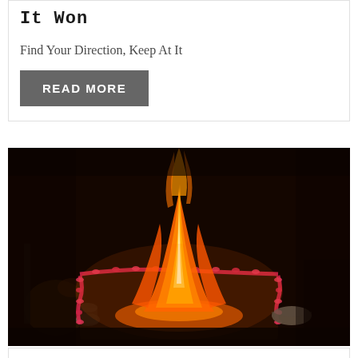It Won
Find Your Direction, Keep At It
READ MORE
[Figure (photo): A religious fire ceremony (havan/yajna) showing flames rising from a square pit decorated with red and pink flower garlands. Various ritual objects and utensils are visible around the fire pit. The scene is dark, dramatically lit by the orange flames.]